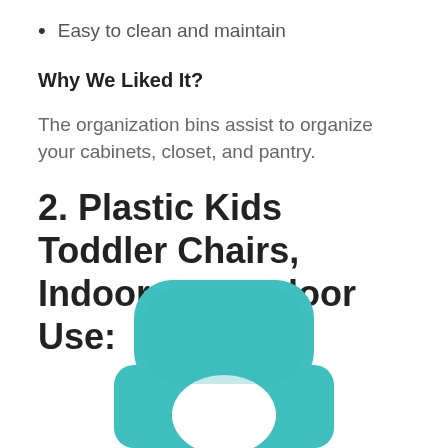Easy to clean and maintain
Why We Liked It?
The organization bins assist to organize your cabinets, closet, and pantry.
2. Plastic Kids Toddler Chairs, Indoor, or Outdoor Use:
[Figure (photo): A teal/turquoise plastic toddler chair viewed from above, showing the back rest and seat with a circular cutout, partially cropped at the bottom of the page.]